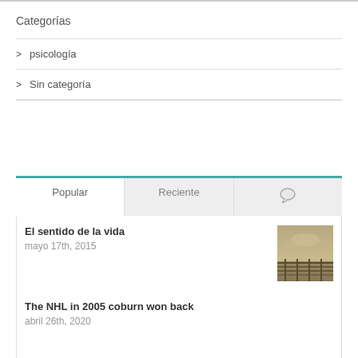Categorías
> psicología
> Sin categoría
Popular | Reciente | (chat icon)
El sentido de la vida
mayo 17th, 2015
The NHL in 2005 coburn won back
abril 26th, 2020